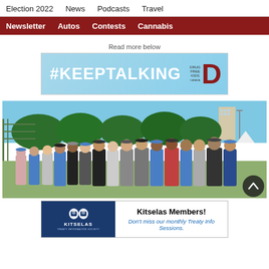Election 2022  News  Podcasts  Travel
Newsletter  Autos  Contests  Cannabis
Read more below
[Figure (illustration): #KEEPTALKING advertisement banner for Drug Free Kids Canada]
[Figure (photo): Group photo of approximately 20 people standing outdoors at a sports field with trees and a tall building in the background]
[Figure (illustration): Kitselas Members! Don't miss our monthly Treaty Info Sessions. Advertisement banner with Kitselas Treaty Information Society logo.]